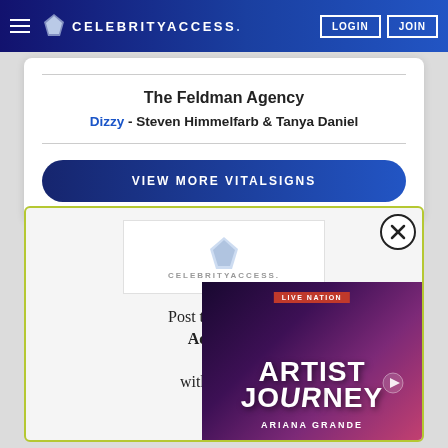CELEBRITYACCESS. LOGIN JOIN
The Feldman Agency
Dizzy - Steven Himmelfarb & Tanya Daniel
VIEW MORE VITALSIGNS
[Figure (logo): CelebrityAccess logo with diamond/ticket icon]
Post to Celebrity Access and Boa with One S
[Figure (screenshot): Live Nation video overlay showing Artist Journey - Ariana Grande with close button]